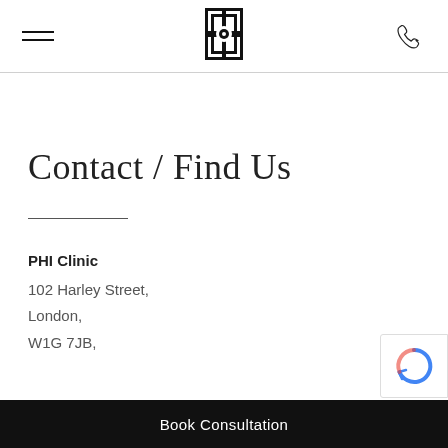PHI Clinic — navigation header with hamburger menu, logo, and phone icon
Contact / Find Us
PHI Clinic
102 Harley Street,
London,
W1G 7JB,
Book Consultation